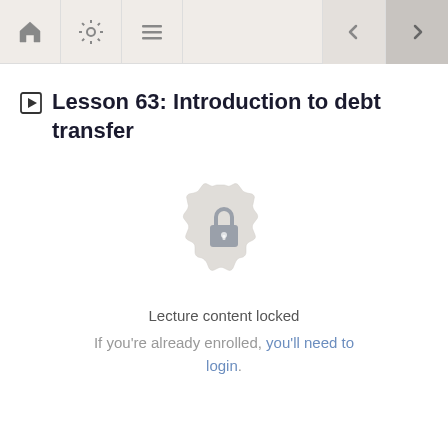Navigation bar with home, settings, menu icons and previous/next buttons
Lesson 63: Introduction to debt transfer
[Figure (illustration): A circular badge/seal icon with a padlock in the center, rendered in light gray, indicating locked content]
Lecture content locked
If you're already enrolled, you'll need to login.